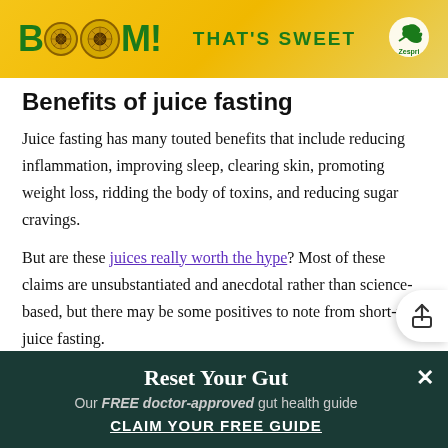[Figure (other): Zespri kiwi fruit advertisement banner with yellow background, green 'BOOM!' text with kiwi fruit images, 'THAT'S SWEET' text and Zespri logo]
Benefits of juice fasting
Juice fasting has many touted benefits that include reducing inflammation, improving sleep, clearing skin, promoting weight loss, ridding the body of toxins, and reducing sugar cravings.
But are these juices really worth the hype? Most of these claims are unsubstantiated and anecdotal rather than science-based, but there may be some positives to note from short-term juice fasting.
Reset Your Gut
Our FREE doctor-approved gut health guide
CLAIM YOUR FREE GUIDE